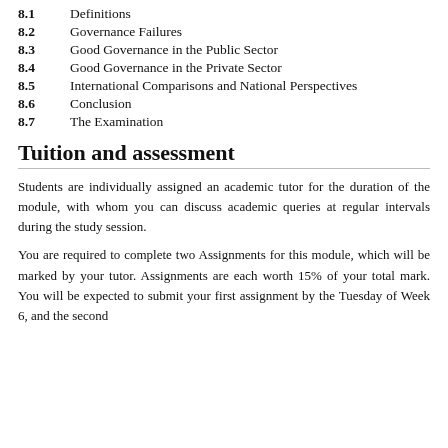8.1   Definitions
8.2   Governance Failures
8.3   Good Governance in the Public Sector
8.4   Good Governance in the Private Sector
8.5   International Comparisons and National Perspectives
8.6   Conclusion
8.7   The Examination
Tuition and assessment
Students are individually assigned an academic tutor for the duration of the module, with whom you can discuss academic queries at regular intervals during the study session.
You are required to complete two Assignments for this module, which will be marked by your tutor. Assignments are each worth 15% of your total mark. You will be expected to submit your first assignment by the Tuesday of Week 6, and the second